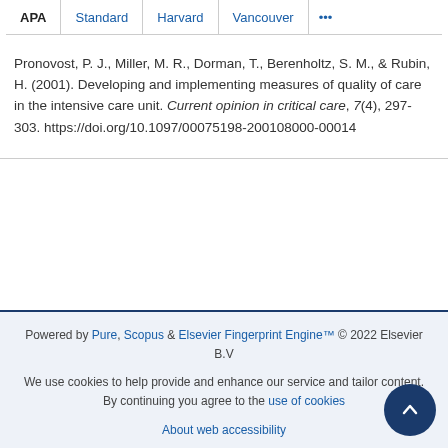APA | Standard | Harvard | Vancouver | ...
Pronovost, P. J., Miller, M. R., Dorman, T., Berenholtz, S. M., & Rubin, H. (2001). Developing and implementing measures of quality of care in the intensive care unit. Current opinion in critical care, 7(4), 297-303. https://doi.org/10.1097/00075198-200108000-00014
Powered by Pure, Scopus & Elsevier Fingerprint Engine™ © 2022 Elsevier B.V
We use cookies to help provide and enhance our service and tailor content. By continuing you agree to the use of cookies
About web accessibility